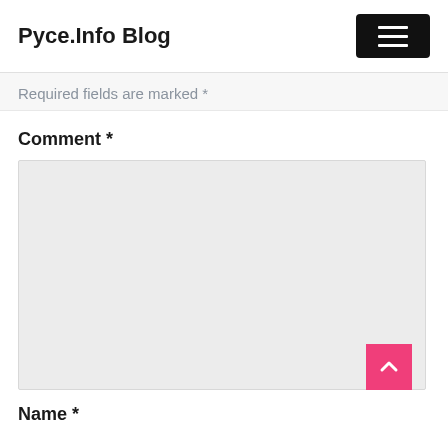Pyce.Info Blog
Required fields are marked *
Comment *
[Figure (other): Large empty comment text area input field with light grey background]
Name *